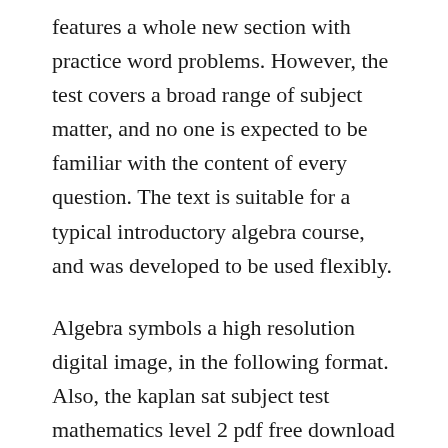features a whole new section with practice word problems. However, the test covers a broad range of subject matter, and no one is expected to be familiar with the content of every question. The text is suitable for a typical introductory algebra course, and was developed to be used flexibly.
Algebra symbols a high resolution digital image, in the following format. Also, the kaplan sat subject test mathematics level 2 pdf free download file is on an online repository for he safer downloading of the file. Free